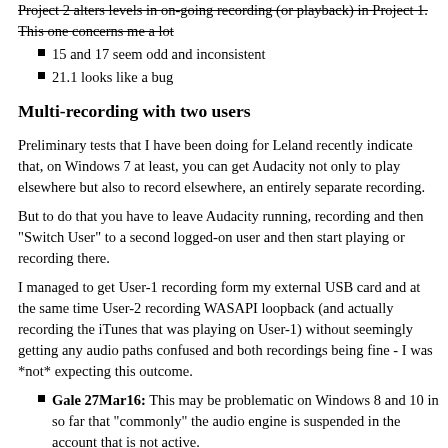Project 2 alters levels in on-going recording (or playback) in Project 1. This one concerns me a lot
15 and 17 seem odd and inconsistent
21.1 looks like a bug
Multi-recording with two users
Preliminary tests that I have been doing for Leland recently indicate that, on Windows 7 at least, you can get Audacity not only to play elsewhere but also to record elsewhere, an entirely separate recording.
But to do that you have to leave Audacity running, recording and then "Switch User" to a second logged-on user and then start playing or recording there.
I managed to get User-1 recording form my external USB card and at the same time User-2 recording WASAPI loopback (and actually recording the iTunes that was playing on User-1) without seemingly getting any audio paths confused and both recordings being fine - I was *not* expecting this outcome.
Gale 27Mar16: This may be problematic on Windows 8 and 10 in so far that "commonly" the audio engine is suspended in the account that is not active.